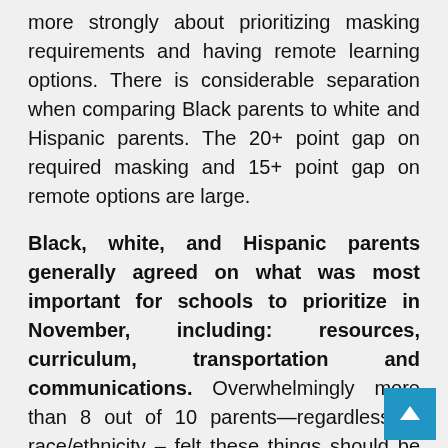more strongly about prioritizing masking requirements and having remote learning options. There is considerable separation when comparing Black parents to white and Hispanic parents. The 20+ point gap on required masking and 15+ point gap on remote options are large.
Black, white, and Hispanic parents generally agreed on what was most important for schools to prioritize in November, including: resources, curriculum, transportation and communications. Overwhelmingly more than 8 out of 10 parents—regardless of race/ethnicity – felt these things should be an extremely/very important focus for